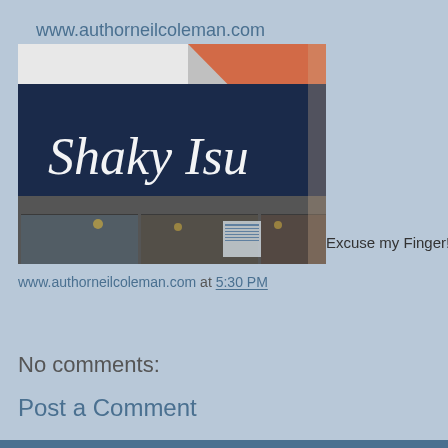www.authorneilcoleman.com
[Figure (photo): Photo of a storefront with a navy blue awning displaying 'Shaky Isu...' in white cursive script, with glass windows below reflecting street scenery. An orange triangular shape appears in the upper right corner. Partially obscured by a finger.]
Excuse my Finger!
www.authorneilcoleman.com at 5:30 PM
Share
No comments:
Post a Comment